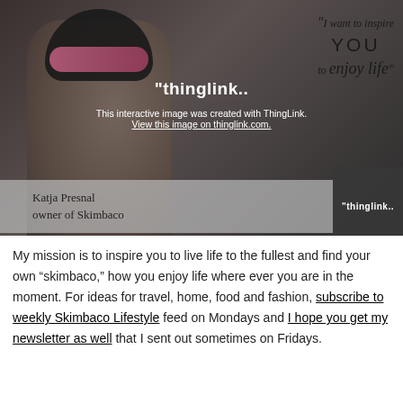[Figure (photo): Interactive ThingLink image showing a woman wearing a bicycle helmet and goggles, with a quote overlay reading 'I want to inspire YOU to enjoy life.' and ThingLink branding. Bottom shows 'Katja Presnal owner of Skimbaco' name plate.]
My mission is to inspire you to live life to the fullest and find your own “skimbaco,” how you enjoy life where ever you are in the moment. For ideas for travel, home, food and fashion, subscribe to weekly Skimbaco Lifestyle feed on Mondays and I hope you get my newsletter as well that I sent out sometimes on Fridays.